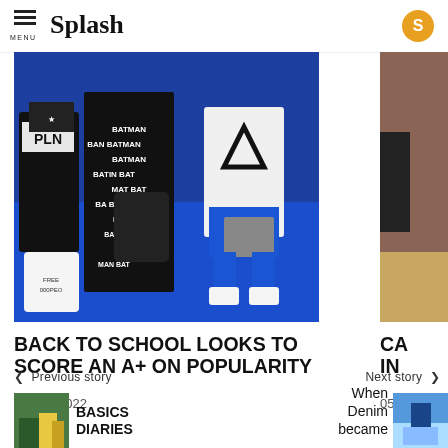Splash
[Figure (photo): Group of young men in fashionable streetwear including Batman-print outfit and graphic tees, seated on blue bleachers]
[Figure (photo): Partial view of another fashion article photo on the right side]
BACK TO SCHOOL LOOKS TO SCORE AN A+ ON POPULARITY
12 Aug 2022
CA IN
05 A
< Previous story
BASICS DIARIES
When Denim became
Next story >
[Figure (photo): Thumbnail photo for Basics Diaries story]
[Figure (photo): Thumbnail photo for When Denim became story]